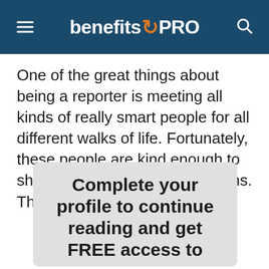benefitsPRO
One of the great things about being a reporter is meeting all kinds of really smart people for all different walks of life. Fortunately, these people are kind enough to share their thoughts and opinions. This
Complete your profile to continue reading and get FREE access to